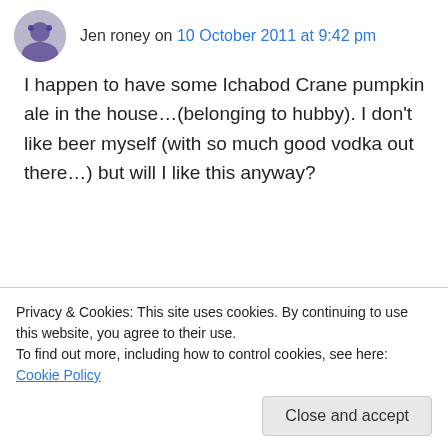Jen roney on 10 October 2011 at 9:42 pm
I happen to have some Ichabod Crane pumpkin ale in the house…(belonging to hubby). I don't like beer myself (with so much good vodka out there…) but will I like this anyway?
↳ Reply
local kitchen on 10 October 2011 at 10:33 pm
Hi Jen,
Privacy & Cookies: This site uses cookies. By continuing to use this website, you agree to their use.
To find out more, including how to control cookies, see here: Cookie Policy
Close and accept